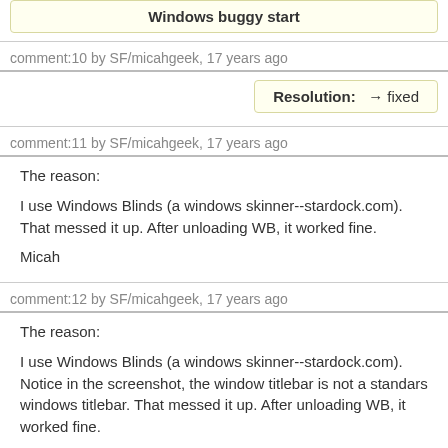Windows buggy start
comment:10 by SF/micahgeek, 17 years ago
Resolution:  → fixed
comment:11 by SF/micahgeek, 17 years ago
The reason:

I use Windows Blinds (a windows skinner--stardock.com). That messed it up. After unloading WB, it worked fine.

Micah
comment:12 by SF/micahgeek, 17 years ago
The reason:

I use Windows Blinds (a windows skinner--stardock.com). Notice in the screenshot, the window titlebar is not a standars windows titlebar. That messed it up. After unloading WB, it worked fine.